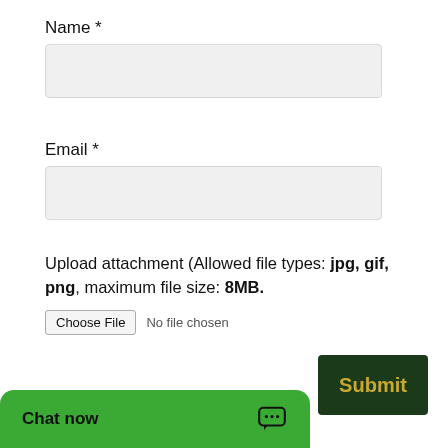Name *
Email *
Upload attachment  (Allowed file types: jpg, gif, png, maximum file size: 8MB.
Choose File  No file chosen
Submit
Recent Posts
Chat now